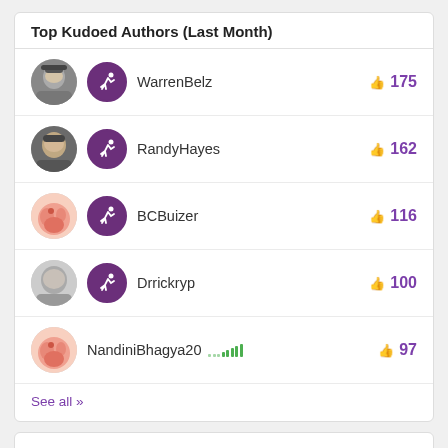Top Kudoed Authors (Last Month)
WarrenBelz 175
RandyHayes 162
BCBuizer 116
Drrickryp 100
NandiniBhagya20 97
See all >>
Users online (5,296)